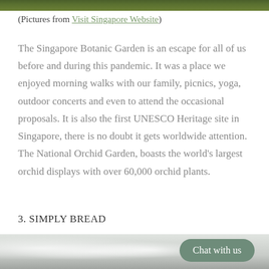[Figure (photo): Top strip of a green garden/foliage image]
(Pictures from Visit Singapore Website)
The Singapore Botanic Garden is an escape for all of us before and during this pandemic. It was a place we enjoyed morning walks with our family, picnics, yoga, outdoor concerts and even to attend the occasional proposals. It is also the first UNESCO Heritage site in Singapore, there is no doubt it gets worldwide attention. The National Orchid Garden, boasts the world's largest orchid displays with over 60,000 orchid plants.
3. SIMPLY BREAD
[Figure (photo): Interior of a café/restaurant with pendant lights, bright and airy space]
Chat with us